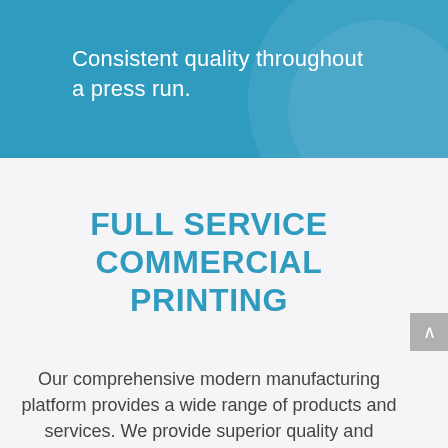Consistent quality throughout a press run.
FULL SERVICE COMMERCIAL PRINTING
Our comprehensive modern manufacturing platform provides a wide range of products and services. We provide superior quality and flexibility, creating timely print communication that drives results, generates leads and creates brand